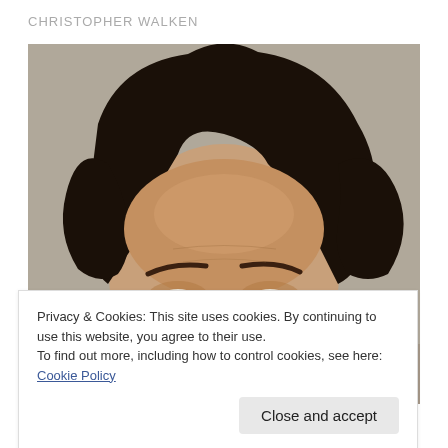CHRISTOPHER WALKEN
[Figure (photo): Close-up portrait photo of a man with dark curly hair, visible from forehead to just below the eyes, against a grey background.]
Privacy & Cookies: This site uses cookies. By continuing to use this website, you agree to their use.
To find out more, including how to control cookies, see here: Cookie Policy
Close and accept